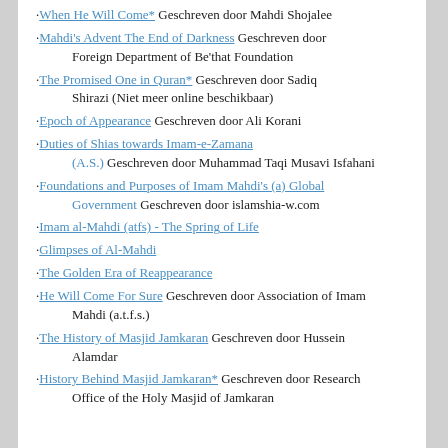·When He Will Come* Geschreven door Mahdi Shojalee
·Mahdi's Advent The End of Darkness Geschreven door Foreign Department of Be'that Foundation
·The Promised One in Quran* Geschreven door Sadiq Shirazi (Niet meer online beschikbaar)
·Epoch of Appearance Geschreven door Ali Korani
·Duties of Shias towards Imam-e-Zamana (A.S.) Geschreven door Muhammad Taqi Musavi Isfahani
·Foundations and Purposes of Imam Mahdi's (a) Global Government Geschreven door islamshia-w.com
·Imam al-Mahdi (atfs) - The Spring of Life
·Glimpses of Al-Mahdi
·The Golden Era of Reappearance
·He Will Come For Sure Geschreven door Association of Imam Mahdi (a.t.f.s.)
·The History of Masjid Jamkaran Geschreven door Hussein Alamdar
·History Behind Masjid Jamkaran* Geschreven door Research Office of the Holy Masjid of Jamkaran